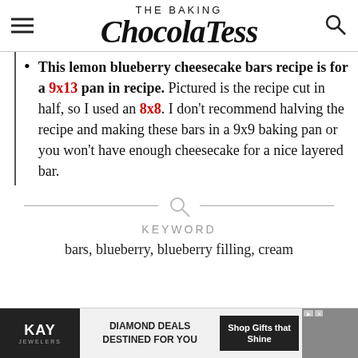THE BAKING ChocolaTess
This lemon blueberry cheesecake bars recipe is for a 9x13 pan in recipe. Pictured is the recipe cut in half, so I used an 8x8. I don't recommend halving the recipe and making these bars in a 9x9 baking pan or you won't have enough cheesecake for a nice layered bar.
KEYWORD
bars, blueberry, blueberry filling, cream